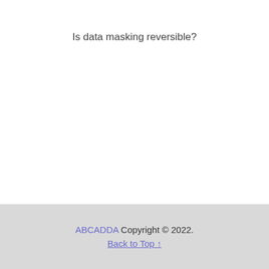Is data masking reversible?
ABCADDA Copyright © 2022. Back to Top ↑